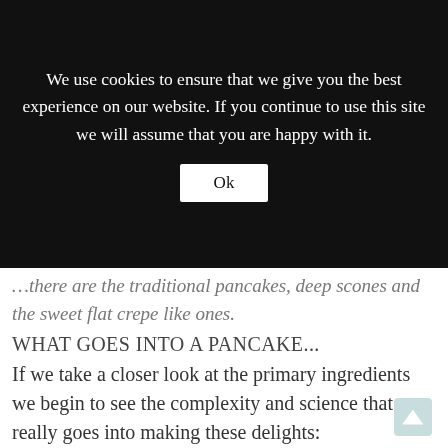[Figure (screenshot): Cookie consent banner overlay with dark background. Text reads: 'We use cookies to ensure that we give you the best experience on our website. If you continue to use this site we will assume that you are happy with it.' with an 'Ok' button.]
...there are the traditional pancakes, deep scones and the sweet flat crepe like ones.
WHAT GOES INTO A PANCAKE...
If we take a closer look at the primary ingredients we begin to see the complexity and science that really goes into making these delights:
FLOUR... this ingredient can be considered the backbone of the pancake as it provides structure
SUGAR....as well as adding the nice sweet taste and contributing to the colour of the pancake, sugar also keeps the pancake from getting to